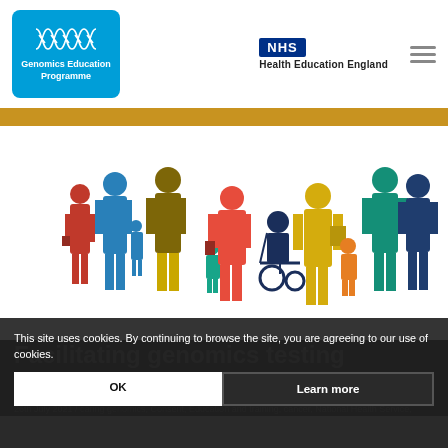Genomics Education Programme | NHS Health Education England
[Figure (illustration): Colourful silhouettes of diverse people including adults, children, elderly, and a person in a wheelchair, representing a diverse community]
This site uses cookies. By continuing to browse the site, you are agreeing to our use of cookies.
OK | Learn more
Facilitating genomics testing new courses and resources
26th July 2021 / caring genomics, Consent, Education and training, cancer, National Health Service,